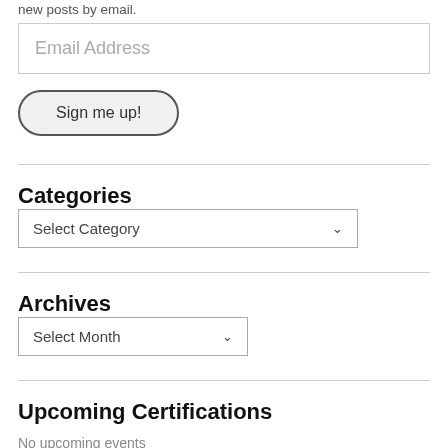new posts by email.
Email Address
Sign me up!
Categories
Select Category
Archives
Select Month
Upcoming Certifications
No upcoming events